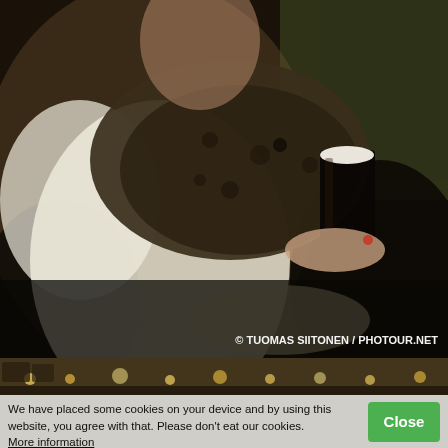[Figure (photo): A woman wearing a white/cream long-sleeve top and a dark animal-print fur scarf, seated in a dark leather chair, holding a pint glass of dark stout beer with a cream head. The background is dark and warm-toned, suggesting a pub atmosphere. Watermark reads: © TUOMAS SIITONEN / PHOTOUR.NET]
[Figure (photo): Narrow thumbnail strip showing warm pub interior lights at the bottom of the main photo.]
We have placed some cookies on your device and by using this website, you agree with that. Please don't eat our cookies.
More information